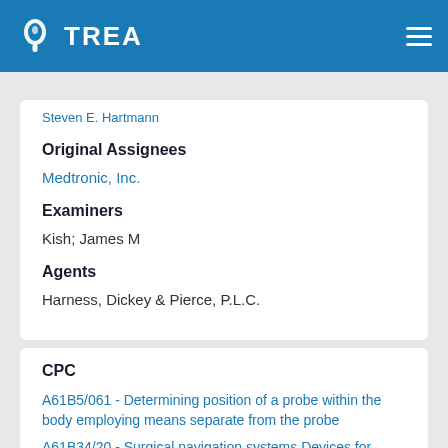TREA
Steven E. Hartmann
Original Assignees
Medtronic, Inc.
Examiners
Kish; James M
Agents
Harness, Dickey & Pierce, P.L.C.
CPC
A61B5/061 - Determining position of a probe within the body employing means separate from the probe
A61B34/20 - Surgical navigation systems Devices for tracking or guiding surgical instruments